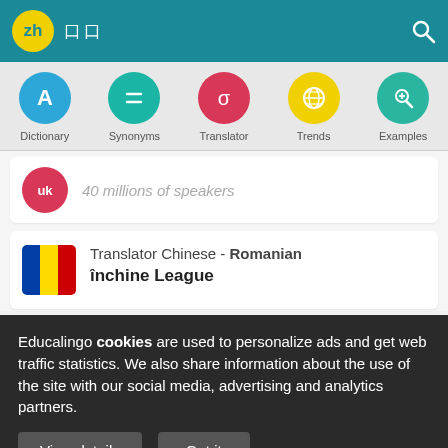[Figure (screenshot): Top navigation bar with zh logo circle in yellow, Chinese characters, and white search icon on teal background]
[Figure (screenshot): Navigation icon row: Dictionary (blue A), Synonyms (teal equals), Translator (red sigma), Trends (yellow globe), Examples (green magnifier)]
40 millions of speakers
Translator Chinese - Romanian
închine League
Educalingo cookies are used to personalize ads and get web traffic statistics. We also share information about the use of the site with our social media, advertising and analytics partners.
View details
Got it